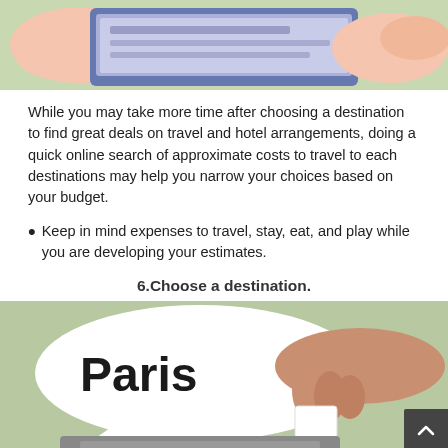[Figure (illustration): Top cropped illustration showing hands holding a smartphone or tablet with a blue/purple interface, on a green background]
While you may take more time after choosing a destination to find great deals on travel and hotel arrangements, doing a quick online search of approximate costs to travel to each destinations may help you narrow your choices based on your budget.
Keep in mind expenses to travel, stay, eat, and play while you are developing your estimates.
6.Choose a destination.
[Figure (illustration): Illustration showing a hand picking a slip of paper from a container, with a speech bubble saying 'Paris' in bold text, on a green background]